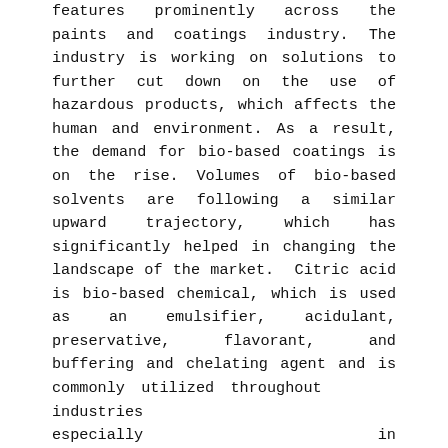features prominently across the paints and coatings industry. The industry is working on solutions to further cut down on the use of hazardous products, which affects the human and environment. As a result, the demand for bio-based coatings is on the rise. Volumes of bio-based solvents are following a similar upward trajectory, which has significantly helped in changing the landscape of the market. Citric acid is bio-based chemical, which is used as an emulsifier, acidulant, preservative, flavorant, and buffering and chelating agent and is commonly utilized throughout industries especially in pharmaceutical, nutraceutical and cosmetic products.
Low emissions with optimal performance have spurred the sales of bio-based coatings and this